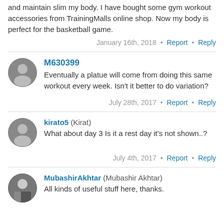and maintain slim my body. I have bought some gym workout accessories from TrainingMalls online shop. Now my body is perfect for the basketball game.
January 16th, 2018 • Report • Reply
M630399 — Eventually a platue will come from doing this same workout every week. Isn't it better to do variation?
July 28th, 2017 • Report • Reply
kirato5 (Kirat) — What about day 3 Is it a rest day it's not shown..?
July 4th, 2017 • Report • Reply
MubashirAkhtar (Mubashir Akhtar) — All kinds of useful stuff here, thanks.